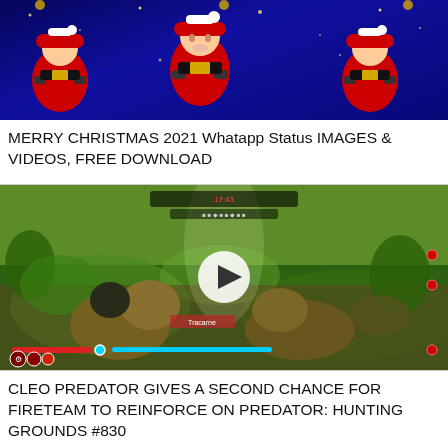[Figure (screenshot): Christmas themed thumbnail with Santa Claus figures on dark blue background with stars]
MERRY CHRISTMAS 2021 Whatapp Status IMAGES & VIDEOS, FREE DOWNLOAD
[Figure (screenshot): Video game screenshot showing combat scene on green terrain with HUD elements, health bars, and a play button overlay]
CLEO PREDATOR GIVES A SECOND CHANCE FOR FIRETEAM TO REINFORCE ON PREDATOR: HUNTING GROUNDS #830